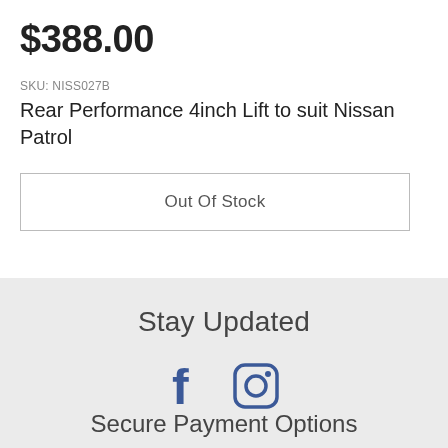$388.00
SKU: NISS027B
Rear Performance 4inch Lift to suit Nissan Patrol
Out Of Stock
Stay Updated
[Figure (illustration): Facebook and Instagram social media icons in dark blue]
Secure Payment Options